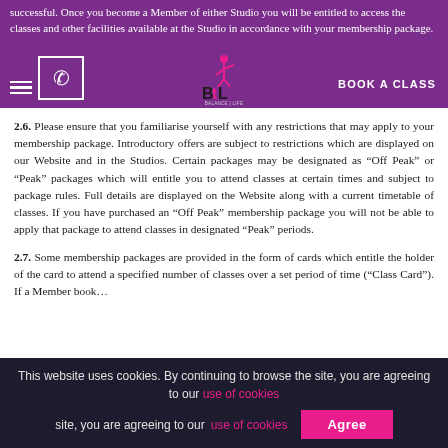successful. Once you become a Member of either Studio you will be entitled to access the classes and other facilities available at the Studio in accordance with your membership package. [BOOK A CLASS]
2.6. Please ensure that you familiarise yourself with any restrictions that may apply to your membership package. Introductory offers are subject to restrictions which are displayed on our Website and in the Studios. Certain packages may be designated as “Off Peak” or “Peak” packages which will entitle you to attend classes at certain times and subject to package rules. Full details are displayed on the Website along with a current timetable of classes. If you have purchased an “Off Peak” membership package you will not be able to apply that package to attend classes in designated “Peak” periods.
2.7. Some membership packages are provided in the form of cards which entitle the holder of the card to attend a specified number of classes over a set period of time (“Class Card”). If a Member book…
This website uses cookies. By continuing to browse the site, you are agreeing to our use of cookies